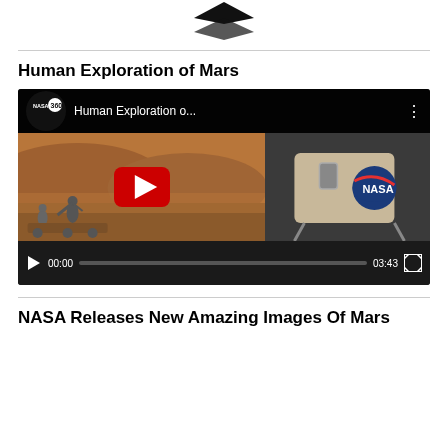[Figure (logo): Diamond/downward arrow logo mark in black]
Human Exploration of Mars
[Figure (screenshot): YouTube video thumbnail showing 'Human Exploration o...' by NASA360 channel. Mars surface scene with astronauts and NASA habitat module. Red play button in center. Video controls showing 00:00 and 03:43 duration.]
NASA Releases New Amazing Images Of Mars